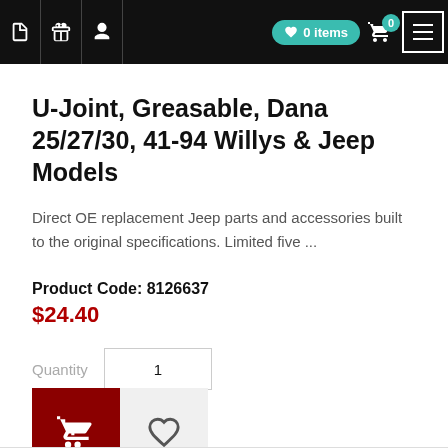Navigation bar with icons, 0 items badge, cart with 0, hamburger menu
U-Joint, Greasable, Dana 25/27/30, 41-94 Willys & Jeep Models
Direct OE replacement Jeep parts and accessories built to the original specifications. Limited five ...
Product Code: 8126637
$24.40